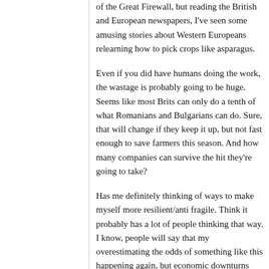of the Great Firewall, but reading the British and European newspapers, I've seen some amusing stories about Western Europeans relearning how to pick crops like asparagus.
Even if you did have humans doing the work, the wastage is probably going to be huge. Seems like most Brits can only do a tenth of what Romanians and Bulgarians can do. Sure, that will change if they keep it up, but not fast enough to save farmers this season. And how many companies can survive the hit they're going to take?
Has me definitely thinking of ways to make myself more resilient/anti fragile. Think it probably has a lot of people thinking that way. I know, people will say that my overestimating the odds of something like this happening again, but economic downturns happen. Preparing for those will definitely get some mileage. Second, I really wonder if we'll see acts of bioterrorism after this. Sort of doubt it, but might as well prepare.